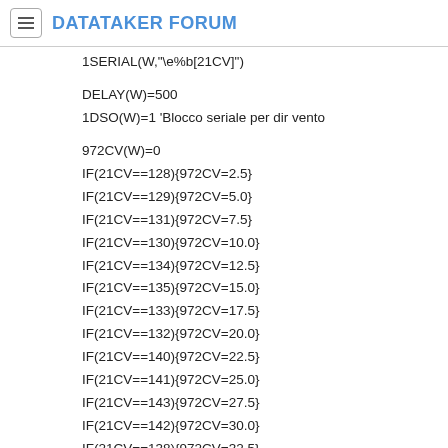DATATAKER FORUM
1SERIAL(W,"\e%b[21CV]")
DELAY(W)=500
1DSO(W)=1 'Blocco seriale per dir vento
972CV(W)=0
IF(21CV==128){972CV=2.5}
IF(21CV==129){972CV=5.0}
IF(21CV==131){972CV=7.5}
IF(21CV==130){972CV=10.0}
IF(21CV==134){972CV=12.5}
IF(21CV==135){972CV=15.0}
IF(21CV==133){972CV=17.5}
IF(21CV==132){972CV=20.0}
IF(21CV==140){972CV=22.5}
IF(21CV==141){972CV=25.0}
IF(21CV==143){972CV=27.5}
IF(21CV==142){972CV=30.0}
IF(21CV==138){972CV=32.5}
IF(21CV==139){972CV=35.0}
IF(21CV==137){972CV=37.5}